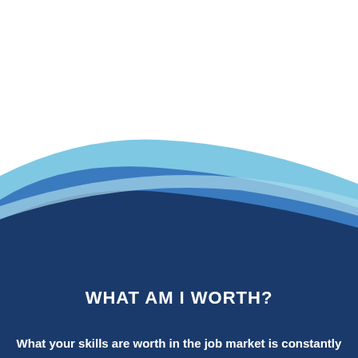[Figure (illustration): Decorative layered wave graphic with light blue and dark navy blue bands sweeping diagonally across the page from upper-left to lower-right, transitioning to a large navy blue background filling the lower half of the page.]
WHAT AM I WORTH?
What your skills are worth in the job market is constantly